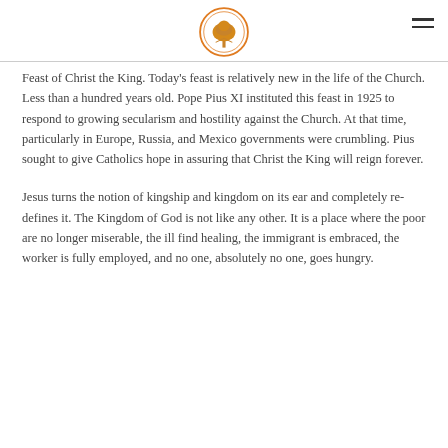[Logo: tree emblem] [hamburger menu icon]
Feast of Christ the King. Today's feast is relatively new in the life of the Church. Less than a hundred years old. Pope Pius XI instituted this feast in 1925 to respond to growing secularism and hostility against the Church. At that time, particularly in Europe, Russia, and Mexico governments were crumbling. Pius sought to give Catholics hope in assuring that Christ the King will reign forever.
Jesus turns the notion of kingship and kingdom on its ear and completely re-defines it. The Kingdom of God is not like any other. It is a place where the poor are no longer miserable, the ill find healing, the immigrant is embraced, the worker is fully employed, and no one, absolutely no one, goes hungry.